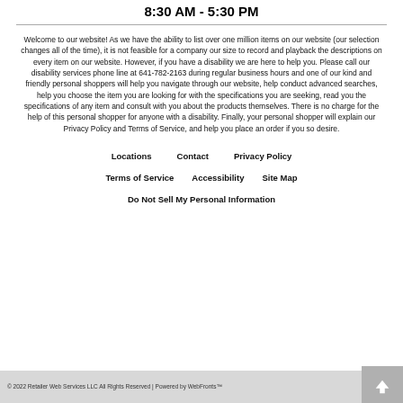8:30 AM - 5:30 PM
Welcome to our website! As we have the ability to list over one million items on our website (our selection changes all of the time), it is not feasible for a company our size to record and playback the descriptions on every item on our website. However, if you have a disability we are here to help you. Please call our disability services phone line at 641-782-2163 during regular business hours and one of our kind and friendly personal shoppers will help you navigate through our website, help conduct advanced searches, help you choose the item you are looking for with the specifications you are seeking, read you the specifications of any item and consult with you about the products themselves. There is no charge for the help of this personal shopper for anyone with a disability. Finally, your personal shopper will explain our Privacy Policy and Terms of Service, and help you place an order if you so desire.
Locations
Contact
Privacy Policy
Terms of Service
Accessibility
Site Map
Do Not Sell My Personal Information
© 2022 Retailer Web Services LLC All Rights Reserved | Powered by WebFronts™